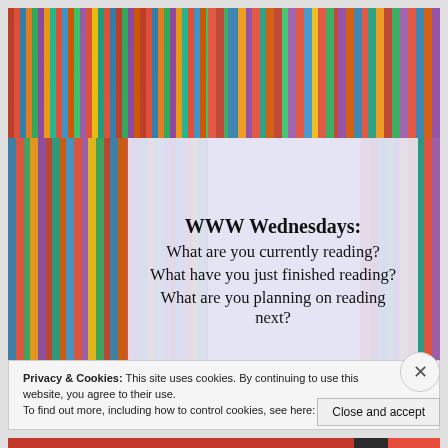[Figure (photo): Bookshelf collage showing multiple bookshelves filled with colorful books, with a child peeking from behind one shelf]
WWW Wednesdays:
What are you currently reading?
What have you just finished reading?
What are you planning on reading next?
Privacy & Cookies: This site uses cookies. By continuing to use this website, you agree to their use.
To find out more, including how to control cookies, see here: Cookie Policy
Close and accept